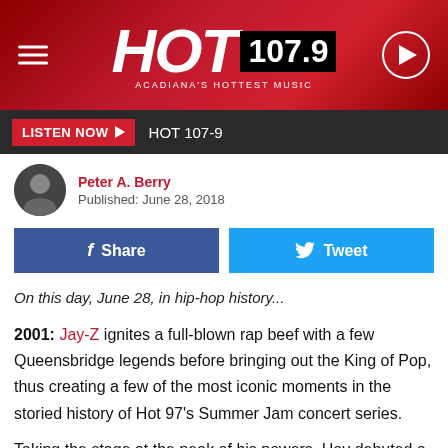[Figure (logo): HOT 107.9 Acadiana's Hottest Music radio station logo on red gradient background with hamburger menu icon on left and play button on right]
LISTEN NOW ▶  HOT 107-9
Peter A. Berry
Published: June 28, 2018
f Share   🐦 Tweet
On this day, June 28, in hip-hop history...
2001: Jay-Z ignites a full-blown rap beef with a few Queensbridge legends before bringing out the King of Pop, thus creating a few of the most iconic moments in the storied history of Hot 97's Summer Jam concert series.
Taking the stage at the peak of his powers, Hov debuted a the first two verses of a new song by the name "Takeover," a scathing tune from his then-forthcoming album, The